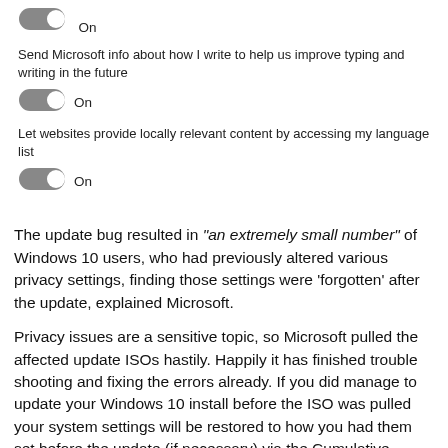[Figure (other): Toggle switch in On position (top, partially visible)]
On
Send Microsoft info about how I write to help us improve typing and writing in the future
[Figure (other): Toggle switch in On position]
On
Let websites provide locally relevant content by accessing my language list
[Figure (other): Toggle switch in On position]
On
The update bug resulted in "an extremely small number" of Windows 10 users, who had previously altered various privacy settings, finding those settings were 'forgotten' after the update, explained Microsoft.
Privacy issues are a sensitive topic, so Microsoft pulled the affected update ISOs hastily. Happily it has finished trouble shooting and fixing the errors already. If you did manage to update your Windows 10 install before the ISO was pulled your system settings will be restored to how you had them set before the update (if necessary) via the Cumulative update for Windows 10 version 1511: November 24, 2015, which will be downloaded and installed automatically via Windows Update.